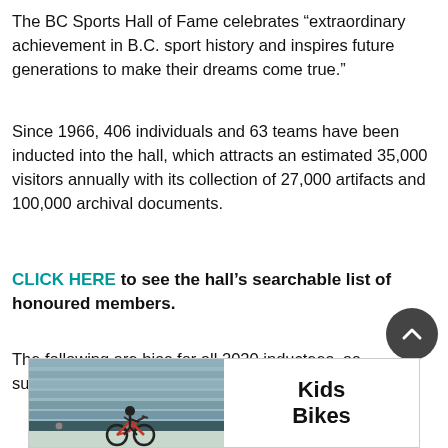The BC Sports Hall of Fame celebrates “extraordinary achievement in B.C. sport history and inspires future generations to make their dreams come true.”
Since 1966, 406 individuals and 63 teams have been inducted into the hall, which attracts an estimated 35,000 visitors annually with its collection of 27,000 artifacts and 100,000 archival documents.
CLICK HERE to see the hall’s searchable list of honoured members.
The following are bios for all 2020 inductees, as submitted by BC Sports Hall of Fame.
[Figure (photo): Advertisement banner showing a child on a BMX bike with text 'Kids Bikes']